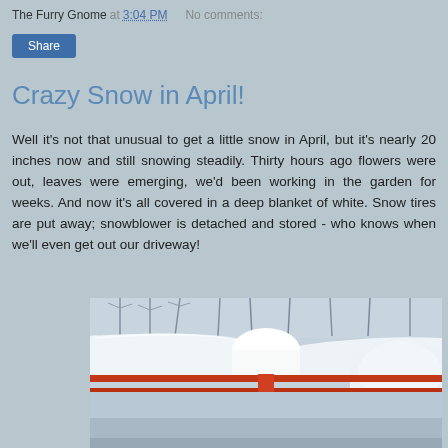The Furry Gnome at 3:04 PM   No comments:
Crazy Snow in April!
Well it's not that unusual to get a little snow in April, but it's nearly 20 inches now and still snowing steadily. Thirty hours ago flowers were out, leaves were emerging, we'd been working in the garden for weeks. And now it's all covered in a deep blanket of white. Snow tires are put away; snowblower is detached and stored - who knows when we'll even get out our driveway!
[Figure (photo): A photograph showing heavy snow accumulation on what appears to be a deck railing or outdoor furniture, with trees visible in the snowy background. The snow is piled very deeply, illustrating the April snowstorm described in the text.]